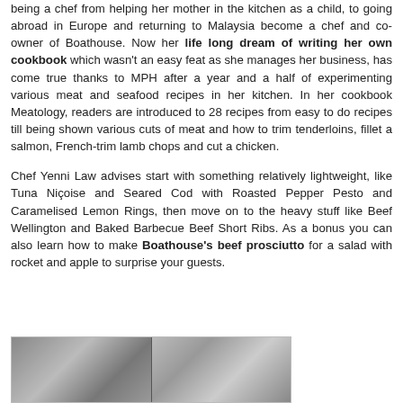being a chef from helping her mother in the kitchen as a child, to going abroad in Europe and returning to Malaysia become a chef and co-owner of Boathouse. Now her life long dream of writing her own cookbook which wasn't an easy feat as she manages her business, has come true thanks to MPH after a year and a half of experimenting various meat and seafood recipes in her kitchen. In her cookbook Meatology, readers are introduced to 28 recipes from easy to do recipes till being shown various cuts of meat and how to trim tenderloins, fillet a salmon, French-trim lamb chops and cut a chicken.
Chef Yenni Law advises start with something relatively lightweight, like Tuna Niçoise and Seared Cod with Roasted Pepper Pesto and Caramelised Lemon Rings, then move on to the heavy stuff like Beef Wellington and Baked Barbecue Beef Short Ribs. As a bonus you can also learn how to make Boathouse's beef prosciutto for a salad with rocket and apple to surprise your guests.
[Figure (photo): Black and white photograph showing what appears to be kitchen or restaurant scenes, two panels side by side]